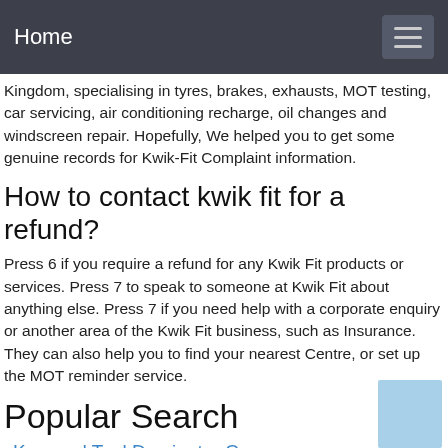Home
Kingdom, specialising in tyres, brakes, exhausts, MOT testing, car servicing, air conditioning recharge, oil changes and windscreen repair. Hopefully, We helped you to get some genuine records for Kwik-Fit Complaint information.
How to contact kwik fit for a refund?
Press 6 if you require a refund for any Kwik Fit products or services. Press 7 to speak to someone at Kwik Fit about anything else. Press 7 if you need help with a corporate enquiry or another area of the Kwik Fit business, such as Insurance. They can also help you to find your nearest Centre, or set up the MOT reminder service.
Popular Search
Keyword Tool Dominator Coupon